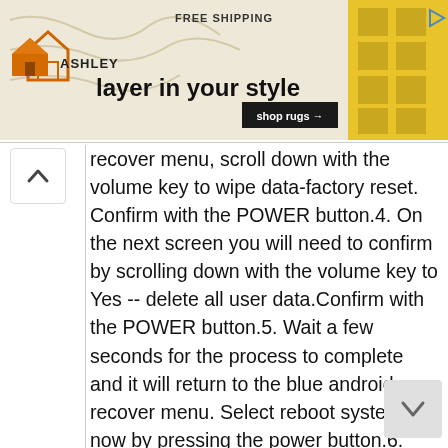[Figure (screenshot): Ashley Furniture advertisement banner with house logo, 'FREE SHIPPING' text, 'layer in your style' tagline, 'shop rugs' button, yellow geometric pattern on right, and map/rug texture background. Play button icon in top right corner.]
recover menu, scroll down with the volume key to wipe data-factory reset. Confirm with the POWER button.4. On the next screen you will need to confirm by scrolling down with the volume key to Yes -- delete all user data.Confirm with the POWER button.5. Wait a few seconds for the process to complete and it will return to the blue android recover menu. Select reboot system now by pressing the power button.6. Done. Your Samsung Galaxy S 3 is now Factory Restored.
Verizon Samsung Galaxy S3 Restore Factory Hard Reset Format Phone.So lets start theVerizon Samsung Galaxy S3 Restore Factory,Verizon Samsung Galaxy S3 Hard Reset.Turn Off the mobile phone for few mints.Verizon Samsung Galaxy S3 Remove Pattern Lock.